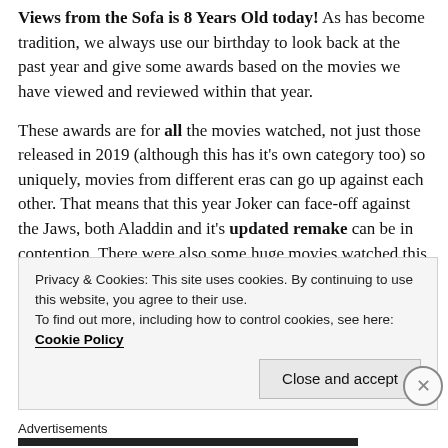Views from the Sofa is 8 Years Old today! As has become tradition, we always use our birthday to look back at the past year and give some awards based on the movies we have viewed and reviewed within that year.
These awards are for all the movies watched, not just those released in 2019 (although this has it's own category too) so uniquely, movies from different eras can go up against each other. That means that this year Joker can face-off against the Jaws, both Aladdin and it's updated remake can be in contention. There were also some huge movies watched this year so some heavy-hitters are up against each other. So without further ado, a look at the best (and worst) of what we viewed in 2019!
Privacy & Cookies: This site uses cookies. By continuing to use this website, you agree to their use. To find out more, including how to control cookies, see here: Cookie Policy
Close and accept
Advertisements